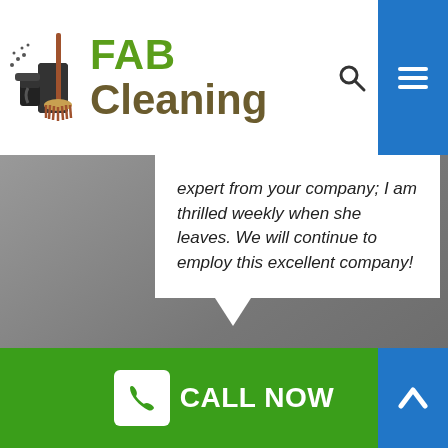[Figure (logo): FAB Cleaning logo with cleaning spray bottle icon, green FAB text and brown Cleaning text]
expert from your company; I am thrilled weekly when she leaves. We will continue to employ this excellent company!
Robert Ackerman
June 27, 2018
[Figure (other): Carousel navigation dots, one active blue dot and one inactive grey dot]
CALL NOW
[Figure (other): Green footer bar with CALL NOW button and blue up-arrow button]